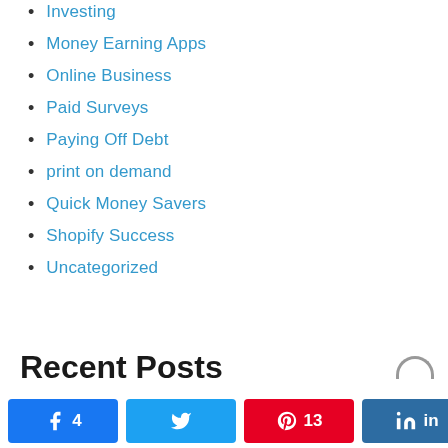Investing
Money Earning Apps
Online Business
Paid Surveys
Paying Off Debt
print on demand
Quick Money Savers
Shopify Success
Uncategorized
Recent Posts